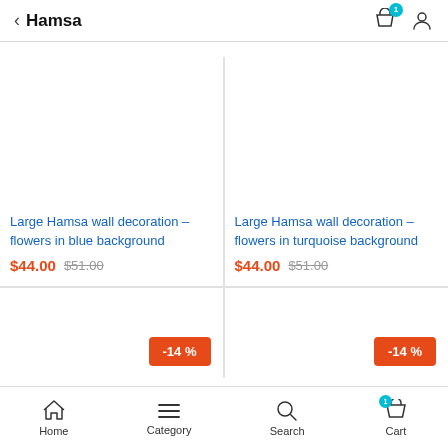< Hamsa
Large Hamsa wall decoration – flowers in blue background
$44.00 $51.00
Large Hamsa wall decoration – flowers in turquoise background
$44.00 $51.00
[Figure (screenshot): Discount badge showing -14%]
[Figure (screenshot): Discount badge showing -14%]
Home  Category  Search  Cart